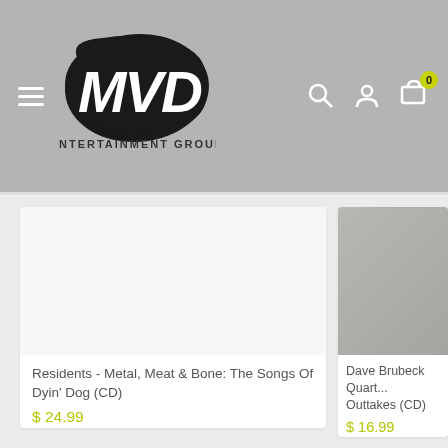[Figure (logo): MVD Entertainment Group logo — white hand-lettered 'MVD' text inside a black blob/pebble shape, with 'ENTERTAINMENT GROUP' in small caps below]
[Figure (screenshot): E-commerce product listing page header with hamburger menu icon on left, MVD Entertainment Group logo in center-left, and search, account, and cart icons on right (cart shows badge with 0)]
Residents - Metal, Meat & Bone: The Songs Of Dyin' Dog (CD)
$ 24.99
Dave Brubeck Quart... Outtakes (CD)
$ 16.99